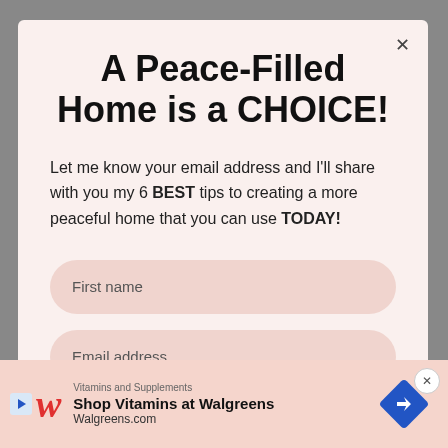A Peace-Filled Home is a CHOICE!
Let me know your email address and I'll share with you my 6 BEST tips to creating a more peaceful home that you can use TODAY!
First name
Email address
[Figure (infographic): Advertisement bar for Walgreens Vitamins and Supplements with Walgreens logo, play button icon, navigation badge icon, and close button]